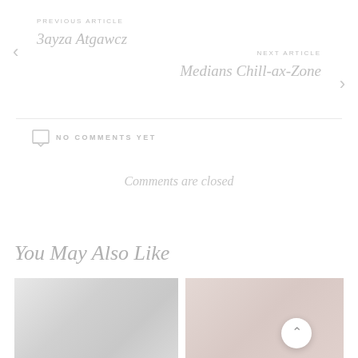PREVIOUS ARTICLE
3ayza Atgawcz
NEXT ARTICLE
Medians Chill-ax-Zone
NO COMMENTS YET
Comments are closed
You May Also Like
[Figure (photo): Left article thumbnail image, light grey tones]
[Figure (photo): Right article thumbnail image, light pinkish-beige tones]